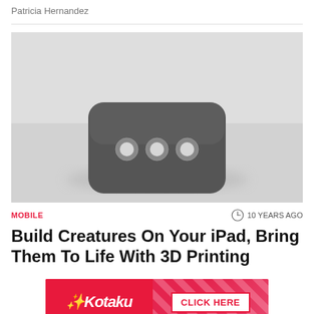Patricia Hernandez
[Figure (photo): Blurred grayscale image of a dark rounded-rectangle device with three circular buttons/lights on its face, on a light gray background. Appears to be a 3D printed creature or device.]
MOBILE
10 YEARS AGO
Build Creatures On Your iPad, Bring Them To Life With 3D Printing
[Figure (other): Kotaku advertisement banner with red background, Kotaku logo on left and CLICK HERE button on right with diagonal stripe pattern]